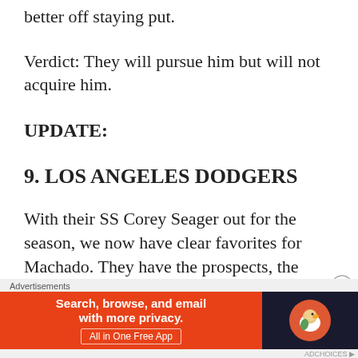better off staying put.
Verdict: They will pursue him but will not acquire him.
UPDATE:
9. LOS ANGELES DODGERS
With their SS Corey Seager out for the season, we now have clear favorites for Machado. They have the prospects, the
[Figure (other): DuckDuckGo advertisement banner: orange section with text 'Search, browse, and email with more privacy. All in One Free App' and dark section with DuckDuckGo logo]